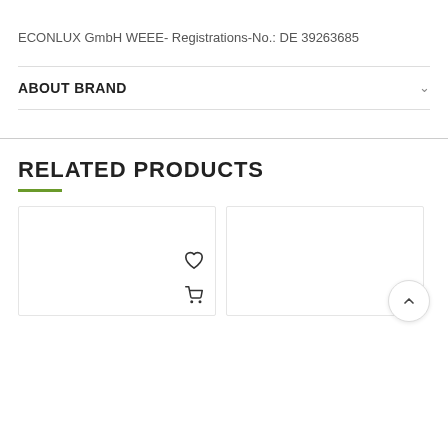ECONLUX GmbH WEEE- Registrations-No.: DE 39263685
ABOUT BRAND
RELATED PRODUCTS
[Figure (screenshot): Two product card placeholders with heart (wishlist) and shopping cart icon buttons. A scroll-to-top circular button with an up arrow is visible at the bottom right.]